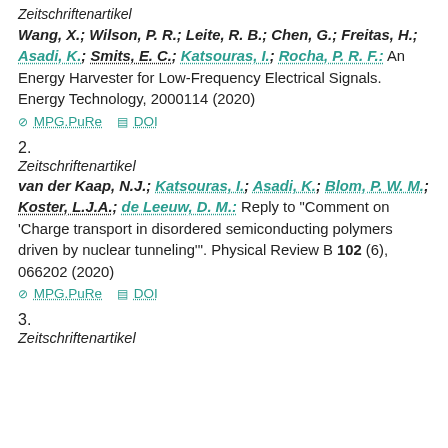Zeitschriftenartikel
Wang, X.; Wilson, P. R.; Leite, R. B.; Chen, G.; Freitas, H.; Asadi, K.; Smits, E. C.; Katsouras, I.; Rocha, P. R. F.: An Energy Harvester for Low-Frequency Electrical Signals. Energy Technology, 2000114 (2020)
MPG.PuRe  DOI
2.
Zeitschriftenartikel
van der Kaap, N.J.; Katsouras, I.; Asadi, K.; Blom, P. W. M.; Koster, L.J.A.; de Leeuw, D. M.: Reply to "Comment on 'Charge transport in disordered semiconducting polymers driven by nuclear tunneling'". Physical Review B 102 (6), 066202 (2020)
MPG.PuRe  DOI
3.
Zeitschriftenartikel